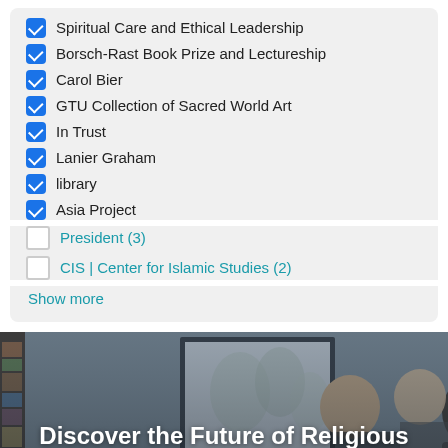Spiritual Care and Ethical Leadership
Borsch-Rast Book Prize and Lectureship
Carol Bier
GTU Collection of Sacred World Art
In Trust
Lanier Graham
library
Asia Project
President (3)
CIS | Center for Islamic Studies (2)
Show more
[Figure (photo): Students studying at a table in a library or classroom setting, with blurred background showing bookshelves and artwork]
Discover the Future of Religious Scholarship